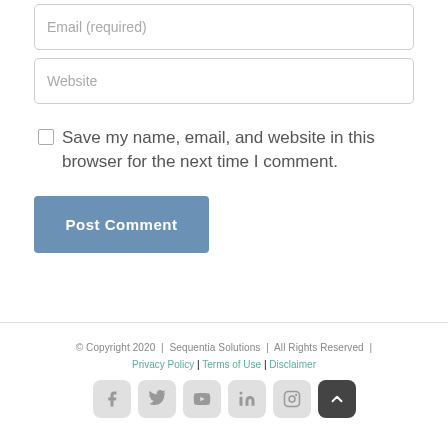Email (required)
Website
Save my name, email, and website in this browser for the next time I comment.
Post Comment
© Copyright 2020  |  Sequentia Solutions  |  All Rights Reserved  |  Privacy Policy | Terms of Use | Disclaimer